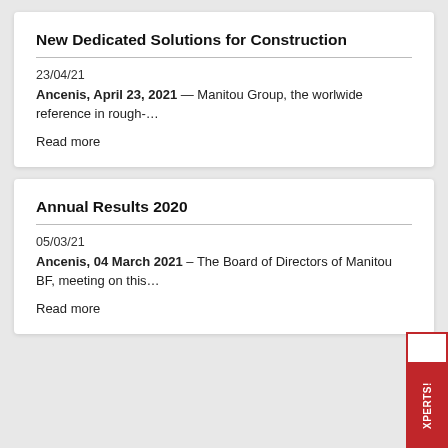New Dedicated Solutions for Construction
23/04/21
Ancenis, April 23, 2021 — Manitou Group, the worlwide reference in rough-…
Read more
Annual Results 2020
05/03/21
Ancenis, 04 March 2021 – The Board of Directors of Manitou BF, meeting on this…
Read more